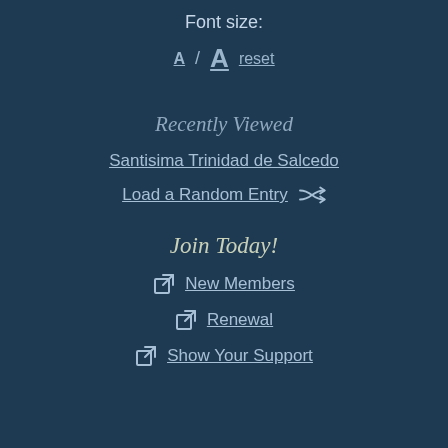Font size:
A / A  reset
Recently Viewed
Santisima Trinidad de Salcedo
Load a Random Entry
Join Today!
New Members
Renewal
Show Your Support